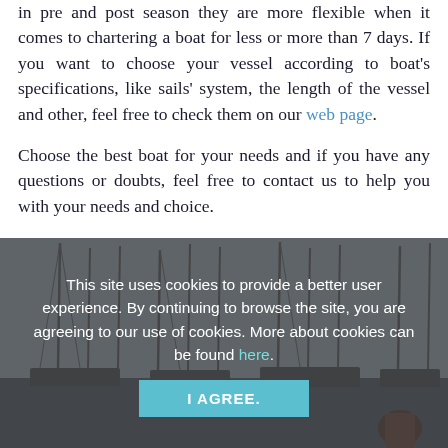in pre and post season they are more flexible when it comes to chartering a boat for less or more than 7 days. If you want to choose your vessel according to boat's specifications, like sails' system, the length of the vessel and other, feel free to check them on our web page.
Choose the best boat for your needs and if you have any questions or doubts, feel free to contact us to help you with your needs and choice.
[Figure (photo): Marina with sailboats and masts visible, partially obscured by a cookie consent overlay.]
This site uses cookies to provide a better user experience. By continuing to browse the site, you are agreeing to our use of cookies. More about cookies can be found here.